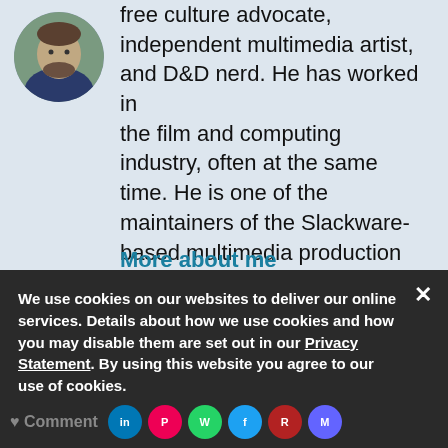[Figure (photo): Circular profile photo of a man with a beard wearing a dark sweater, against an outdoor background]
free culture advocate, independent multimedia artist, and D&D nerd. He has worked in the film and computing industry, often at the same time. He is one of the maintainers of the Slackware-based multimedia production project Slackermedia.
More about me
We use cookies on our websites to deliver our online services. Details about how we use cookies and how you may disable them are set out in our Privacy Statement. By using this website you agree to our use of cookies.